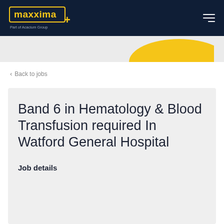maxxima + Part of Acacium Group
< Back to jobs
Band 6 in Hematology & Blood Transfusion required In Watford General Hospital
Job details